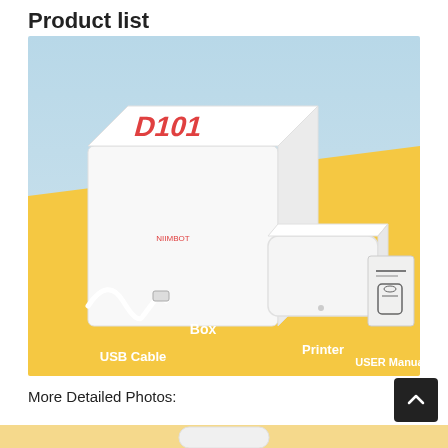Product list
[Figure (photo): Product list photo showing: a white box labeled D101 with NIIMBOT branding, a white compact thermal printer, a white USB cable, and a USER Manual booklet, all arranged on a yellow surface with a light blue background. Labels in white bold text: 'Box', 'USB Cable', 'Printer', 'USER Manual'.]
More Detailed Photos: